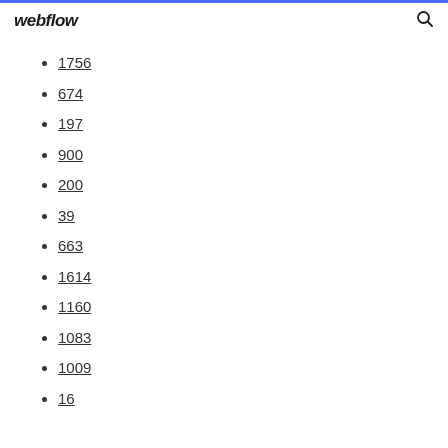webflow
1756
674
197
900
200
39
663
1614
1160
1083
1009
16